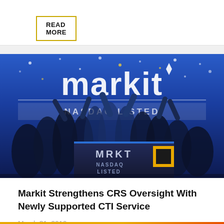READ MORE
[Figure (photo): Group of people celebrating at Markit NASDAQ listing event, with Markit logo on blue background and MRKT NASDAQ LISTED podium in foreground with gold square logo]
Markit Strengthens CRS Oversight With Newly Supported CTI Service
March 31, 2016